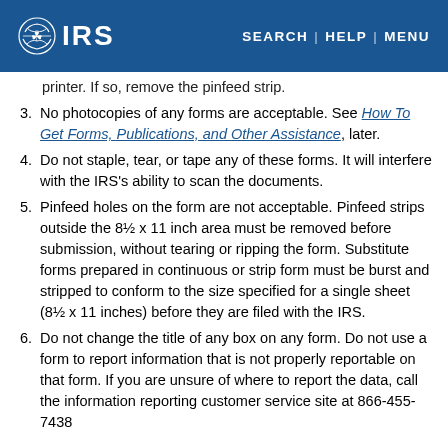IRS | SEARCH | HELP | MENU
(continuation) printer. If so, remove the pinfeed strip.
3. No photocopies of any forms are acceptable. See How To Get Forms, Publications, and Other Assistance, later.
4. Do not staple, tear, or tape any of these forms. It will interfere with the IRS’s ability to scan the documents.
5. Pinfeed holes on the form are not acceptable. Pinfeed strips outside the 8½ x 11 inch area must be removed before submission, without tearing or ripping the form. Substitute forms prepared in continuous or strip form must be burst and stripped to conform to the size specified for a single sheet (8½ x 11 inches) before they are filed with the IRS.
6. Do not change the title of any box on any form. Do not use a form to report information that is not properly reportable on that form. If you are unsure of where to report the data, call the information reporting customer service site at 866-455-7438...